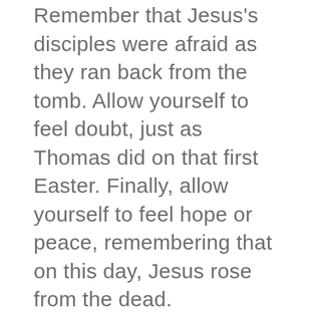Remember that Jesus's disciples were afraid as they ran back from the tomb. Allow yourself to feel doubt, just as Thomas did on that first Easter. Finally, allow yourself to feel hope or peace, remembering that on this day, Jesus rose from the dead.
PRAYER
Almighty God, who through your only-